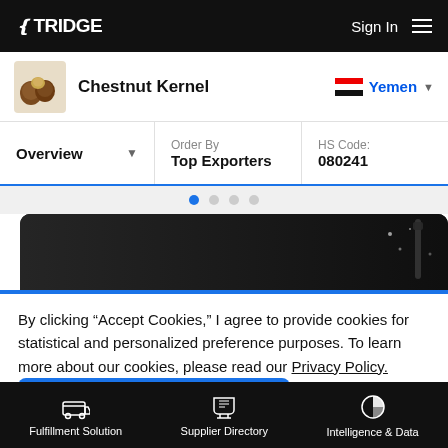TRIDGE  Sign In
Chestnut Kernel
Yemen
Overview
Order By
Top Exporters
HS Code:
080241
[Figure (other): Dark background decorative image band]
By clicking “Accept Cookies,” I agree to provide cookies for statistical and personalized preference purposes. To learn more about our cookies, please read our Privacy Policy.
Accept Cookies
Fulfillment Solution  Supplier Directory  Intelligence & Data